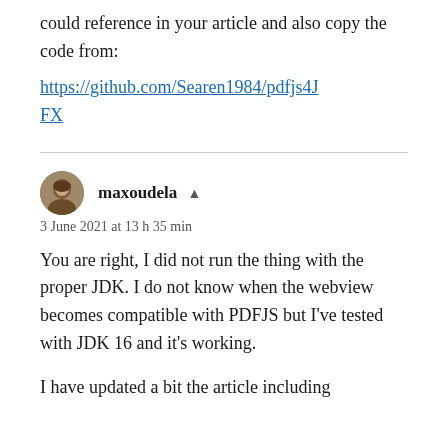could reference in your article and also copy the code from:
https://github.com/Searen1984/pdfjs4JFX
maxoudela
3 June 2021 at 13 h 35 min
You are right, I did not run the thing with the proper JDK. I do not know when the webview becomes compatible with PDFJS but I've tested with JDK 16 and it's working.
I have updated a bit the article including